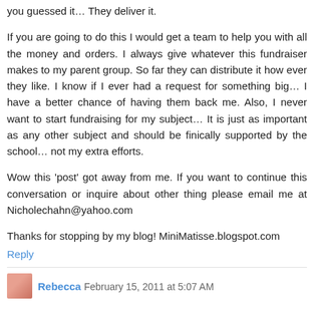you guessed it… They deliver it.
If you are going to do this I would get a team to help you with all the money and orders. I always give whatever this fundraiser makes to my parent group. So far they can distribute it how ever they like. I know if I ever had a request for something big… I have a better chance of having them back me. Also, I never want to start fundraising for my subject… It is just as important as any other subject and should be finically supported by the school… not my extra efforts.
Wow this 'post' got away from me. If you want to continue this conversation or inquire about other thing please email me at Nicholechahn@yahoo.com
Thanks for stopping by my blog! MiniMatisse.blogspot.com
Reply
Rebecca  February 15, 2011 at 5:07 AM